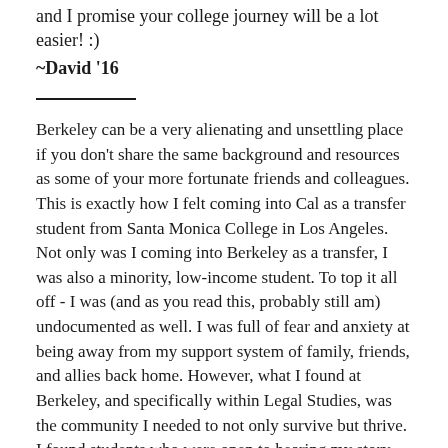and I promise your college journey will be a lot easier! :)
~David '16
Berkeley can be a very alienating and unsettling place if you don't share the same background and resources as some of your more fortunate friends and colleagues. This is exactly how I felt coming into Cal as a transfer student from Santa Monica College in Los Angeles. Not only was I coming into Berkeley as a transfer, I was also a minority, low-income student. To top it all off - I was (and as you read this, probably still am) undocumented as well. I was full of fear and anxiety at being away from my support system of family, friends, and allies back home. However, what I found at Berkeley, and specifically within Legal Studies, was the community I needed to not only survive but thrive. I found students who were open to hearing my story and how current politics were affecting my daily life. I found professors and GSIs who were not only willing to lend an ear, but who actively sought to help me in any way they